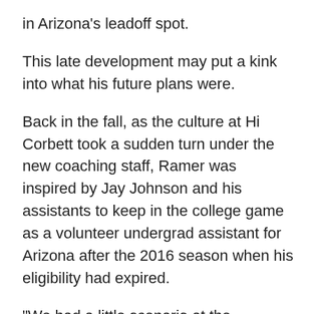in Arizona's leadoff spot.
This late development may put a kink into what his future plans were.
Back in the fall, as the culture at Hi Corbett took a sudden turn under the new coaching staff, Ramer was inspired by Jay Johnson and his assistants to keep in the college game as a volunteer undergrad assistant for Arizona after the 2016 season when his eligibility had expired.
"We had a little scenario at the beginning of the fall," Ramer explained. "And then I think in the winter I asked him if I could volunteer assistant because I'm going to be here and I've got no friends other than the baseball guys so I might as well be around the field